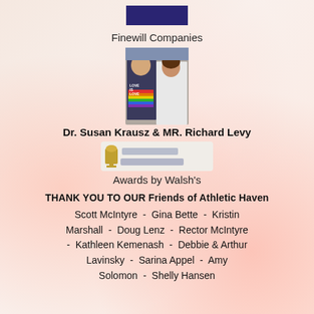[Figure (logo): Dark navy/purple rectangular logo block for Finewill Companies]
Finewill Companies
[Figure (photo): Photo of Dr. Susan Krausz and MR. Richard Levy standing together, man on left with rainbow shirt, woman on right in white jacket]
Dr. Susan Krausz & MR. Richard Levy
[Figure (logo): Awards by Walsh's logo with trophy icon and stylized text, partially blurred]
Awards by Walsh's
THANK YOU TO OUR Friends of Athletic Haven
Scott McIntyre  -  Gina Bette  -  Kristin Marshall  -  Doug Lenz  -  Rector McIntyre  -  Kathleen Kemenash  -  Debbie & Arthur Lavinsky  -  Sarina Appel  -  Amy Solomon  -  Shelly Hansen